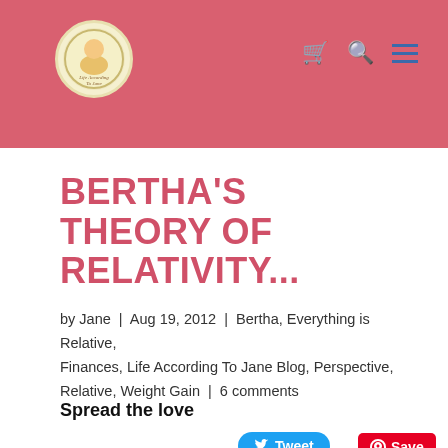[Figure (logo): Circular logo with illustrated character, website logo for Jane blog]
BERTHA'S THEORY OF RELATIVITY...
by Jane | Aug 19, 2012 | Bertha, Everything is Relative, Finances, Life According To Jane Blog, Perspective, Relative, Weight Gain | 6 comments
Spread the love
[Figure (screenshot): Tweet button (blue), Save button (red Pinterest), Share button (orange)]
Bertha always told Jane that...